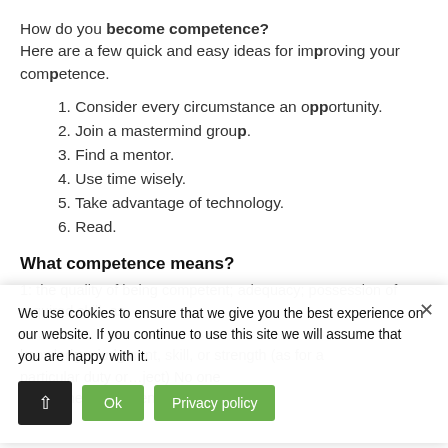How do you become competence?
Here are a few quick and easy ideas for improving your competence.
1. Consider every circumstance an opportunity.
2. Join a mastermind group.
3. Find a mentor.
4. Use time wisely.
5. Take advantage of technology.
6. Read.
What competence means?
1: the quality of being competent; adequacy; possession of required skill, knowledge, judgment, skill, or strength (as for a particular duty or object) No one denies her competence as a leader.
We use cookies to ensure that we give you the best experience on our website. If you continue to use this site we will assume that you are happy with it.